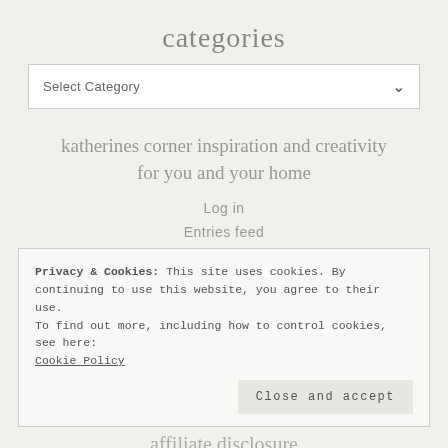categories
Select Category
katherines corner inspiration and creativity for you and your home
Log in
Entries feed
Privacy & Cookies: This site uses cookies. By continuing to use this website, you agree to their use.
To find out more, including how to control cookies, see here:
Cookie Policy
Close and accept
affiliate disclosure